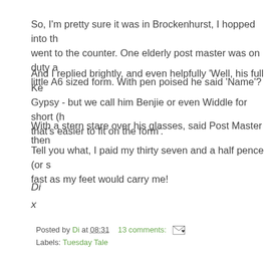So, I'm pretty sure it was in Brockenhurst, I hopped into the went to the counter. One elderly post master was on duty and little A6 sized form. With pen poised he said 'Name'?
And I replied brightly, and even helpfully 'Well, his full Ken Gypsy - but we call him Benjie or even Widdle for short (he that's easier to fit on the form'.
With a stern stare over his glasses, said Post Master then
Tell you what, I paid my thirty seven and a half pence (or s fast as my feet would carry me!
Di
x
Posted by Di at 08:31   13 comments:   Labels: Tuesday Tale